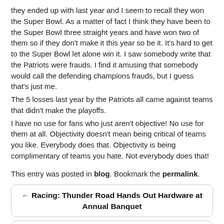they ended up with last year and I seem to recall they won the Super Bowl. As a matter of fact I think they have been to the Super Bowl three straight years and have won two of them so if they don't make it this year so be it. It's hard to get to the Super Bowl let alone win it. I saw somebody write that the Patriots were frauds. I find it amusing that somebody would call the defending champions frauds, but I guess that's just me.
The 5 losses last year by the Patriots all came against teams that didn't make the playoffs.
I have no use for fans who just aren't objective! No use for them at all. Objectivity doesn't mean being critical of teams you like. Everybody does that. Objectivity is being complimentary of teams you hate. Not everybody does that!
This entry was posted in blog. Bookmark the permalink.
← Racing: Thunder Road Hands Out Hardware at Annual Banquet
Women's Hockey: Norwich Wins Fifth Straight, Topping Conn College 5-0 →